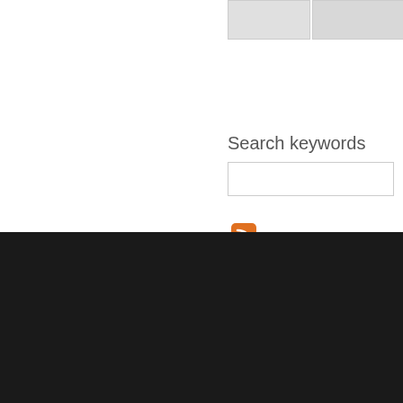Search keywords
[Figure (other): RSS feed icon — orange rounded square with white wifi-style arc symbol]
Copyright: The Vaughan Williams Charitable Trust.
The database is supported by The Vaughan Williams Charitable Trust (http://www...
Contact the Letters of RVW Project